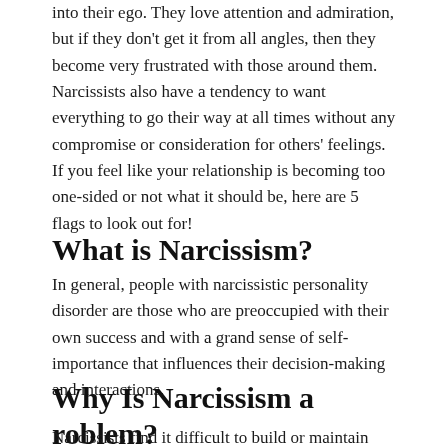into their ego. They love attention and admiration, but if they don't get it from all angles, then they become very frustrated with those around them. Narcissists also have a tendency to want everything to go their way at all times without any compromise or consideration for others' feelings. If you feel like your relationship is becoming too one-sided or not what it should be, here are 5 flags to look out for!
What is Narcissism?
In general, people with narcissistic personality disorder are those who are preoccupied with their own success and with a grand sense of self-importance that influences their decision-making and interactions.
Why Is Narcissism a roblem?
Narcissists find it difficult to build or maintain